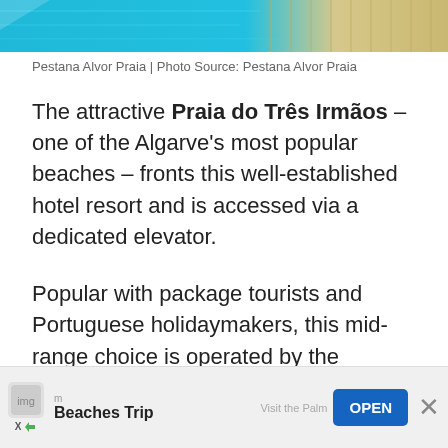[Figure (photo): Top strip showing a hotel pool area with blue water and light wooden deck, partially visible — Pestana Alvor Praia]
Pestana Alvor Praia | Photo Source: Pestana Alvor Praia
The attractive Praia do Três Irmãos – one of the Algarve's most popular beaches – fronts this well-established hotel resort and is accessed via a dedicated elevator.
Popular with package tourists and Portuguese holidaymakers, this mid-range choice is operated by the country's biggest hotel chain, which is highly regarded within the tourism industry.
Accommodation is a choice of airy, comfortable Deluxe rooms, some with private balconies, with either…